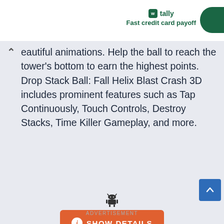[Figure (logo): Tally app logo with green icon and text 'tally' and subtitle 'Fast credit card payoff']
beautiful animations. Help the ball to reach the tower's bottom to earn the highest points. Drop Stack Ball: Fall Helix Blast Crash 3D includes prominent features such as Tap Continuously, Touch Controls, Destroy Stacks, Time Killer Gameplay, and more.
[Figure (illustration): Android robot icon]
[Figure (other): Orange 'SHOW DETAILS' button with info icon]
[Figure (other): Blue scroll-to-top button with up arrow]
ADVERTISEMENT